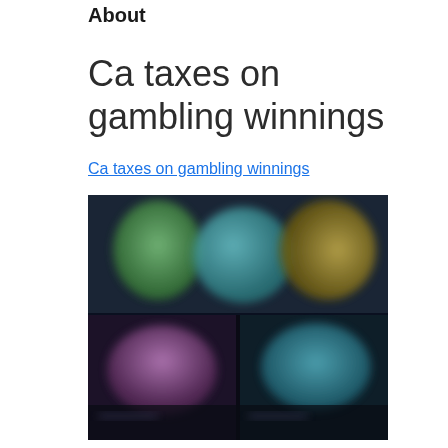About
Ca taxes on gambling winnings
Ca taxes on gambling winnings
[Figure (photo): Blurred screenshot of a gaming/streaming interface showing colorful animated characters and game thumbnails in a dark UI layout.]